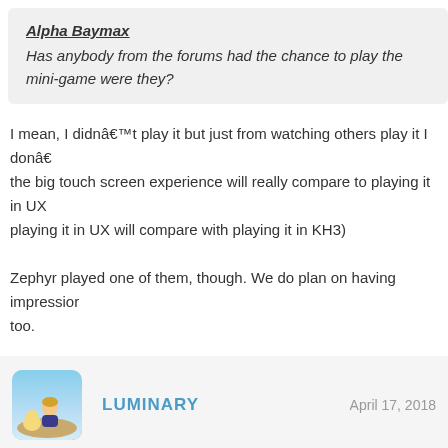Alpha Baymax
Has anybody from the forums had the chance to play the mini-game were they?
I mean, I didnât play it but just from watching others play it I donâ the big touch screen experience will really compare to playing it in UX playing it in UX will compare with playing it in KH3)
Zephyr played one of them, though. We do plan on having impressions too.
LUMINARY
April 17, 2018
[Figure (illustration): Avatar image showing a character sitting with a small creature against a sky background]
So there are 20+ of these mini games that we collect throughout the g there will be per world and how much trouble it will be to find them.